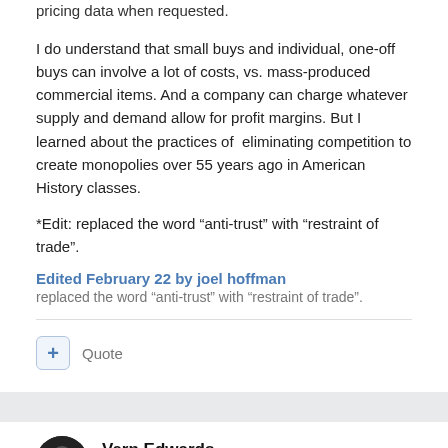pricing data when requested.
I do understand that small buys and individual, one-off buys can involve a lot of costs, vs. mass-produced commercial items. And a company can charge whatever supply and demand allow for profit margins. But I learned about the practices of eliminating competition to create monopolies over 55 years ago in American History classes.
*Edit: replaced the word “anti-trust” with “restraint of trade”.
Edited February 22 by joel hoffman
replaced the word “anti-trust” with “restraint of trade”.
Quote
Vern Edwards
Posted February 22
From the Federal Trade Commission: Monopolization Defined.